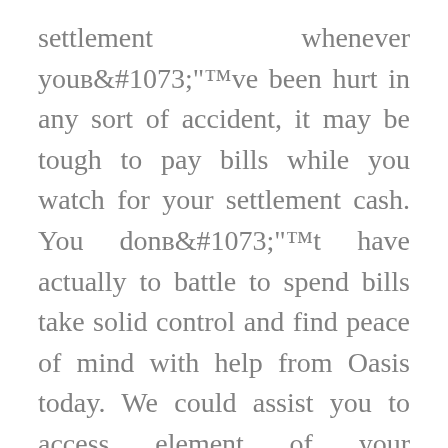settlement whenever youвЂ™ve been hurt in any sort of accident, it may be tough to pay bills while you watch for your settlement cash. You donвЂ™t have actually to battle to spend bills take solid control and find peace of mind with help from Oasis today. We could assist you to access element of your settlement faster in a couple of steps that are simple. Use our on line type or call toll-free when to get going. ThereвЂ™s no price, therefore the application takes just 3 minutes. Accept application approval in